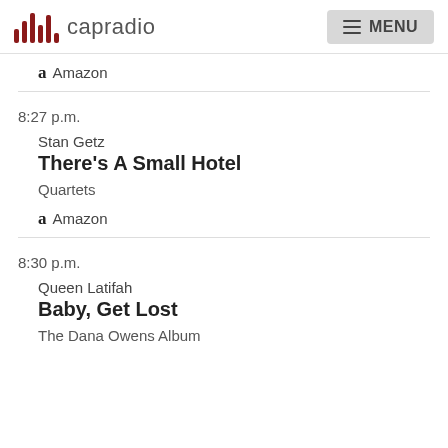capradio  MENU
Amazon
8:27 p.m.
Stan Getz
There's A Small Hotel
Quartets
Amazon
8:30 p.m.
Queen Latifah
Baby, Get Lost
The Dana Owens Album